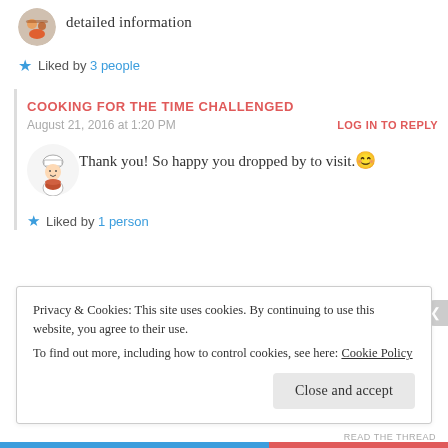detailed information
Liked by 3 people
COOKING FOR THE TIME CHALLENGED
August 21, 2016 at 1:20 PM
LOG IN TO REPLY
Thank you! So happy you dropped by to visit. 😊
Liked by 1 person
Privacy & Cookies: This site uses cookies. By continuing to use this website, you agree to their use.
To find out more, including how to control cookies, see here: Cookie Policy
Close and accept